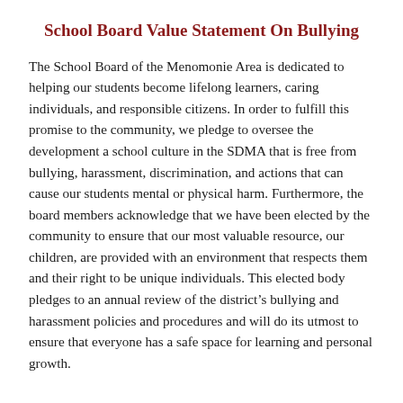School Board Value Statement On Bullying
The School Board of the Menomonie Area is dedicated to helping our students become lifelong learners, caring individuals, and responsible citizens. In order to fulfill this promise to the community, we pledge to oversee the development a school culture in the SDMA that is free from bullying, harassment, discrimination, and actions that can cause our students mental or physical harm. Furthermore, the board members acknowledge that we have been elected by the community to ensure that our most valuable resource, our children, are provided with an environment that respects them and their right to be unique individuals. This elected body pledges to an annual review of the district’s bullying and harassment policies and procedures and will do its utmost to ensure that everyone has a safe space for learning and personal growth.